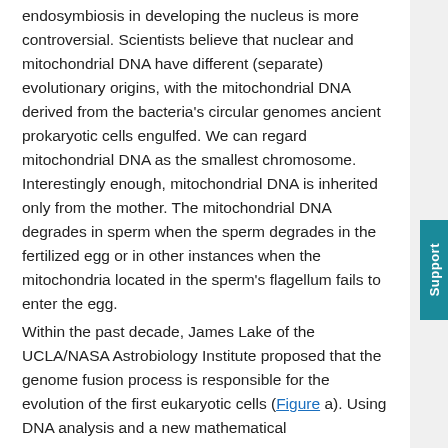endosymbiosis in developing the nucleus is more controversial. Scientists believe that nuclear and mitochondrial DNA have different (separate) evolutionary origins, with the mitochondrial DNA derived from the bacteria's circular genomes ancient prokaryotic cells engulfed. We can regard mitochondrial DNA as the smallest chromosome. Interestingly enough, mitochondrial DNA is inherited only from the mother. The mitochondrial DNA degrades in sperm when the sperm degrades in the fertilized egg or in other instances when the mitochondria located in the sperm's flagellum fails to enter the egg.
Within the past decade, James Lake of the UCLA/NASA Astrobiology Institute proposed that the genome fusion process is responsible for the evolution of the first eukaryotic cells (Figure a). Using DNA analysis and a new mathematical